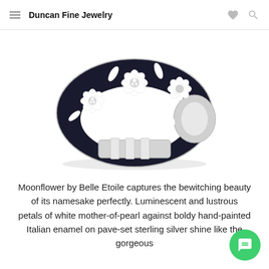Duncan Fine Jewelry
[Figure (photo): A silver bangle bracelet featuring white mother-of-pearl flower designs against bold black hand-painted Italian enamel, with diamond pave-set centers on the flowers.]
Moonflower by Belle Etoile captures the bewitching beauty of its namesake perfectly. Luminescent and lustrous petals of white mother-of-pearl against boldy hand-painted Italian enamel on pave-set sterling silver shine like the gorgeous